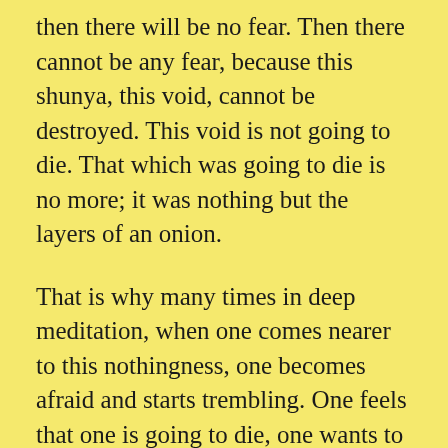then there will be no fear. Then there cannot be any fear, because this shunya, this void, cannot be destroyed. This void is not going to die. That which was going to die is no more; it was nothing but the layers of an onion.
That is why many times in deep meditation, when one comes nearer to this nothingness, one becomes afraid and starts trembling. One feels that one is going to die, one wants to escape from this nothingness back to the world. And many go back; then they never turn within again. As I see it, every one of you have tried in some life or other some meditative technique. You have been near to the nothingness, and then fear gripped you and